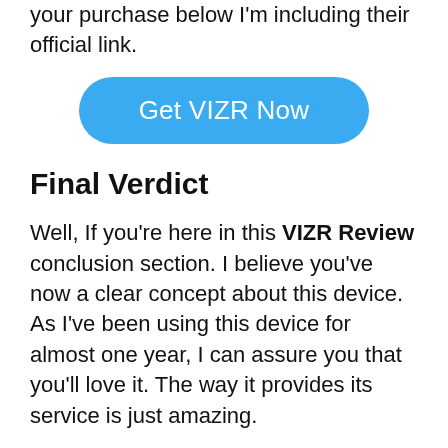your purchase below I'm including their official link.
[Figure (other): Blue rounded button with white text reading 'Get VIZR Now']
Final Verdict
Well, If you're here in this VIZR Review conclusion section. I believe you've now a clear concept about this device. As I've been using this device for almost one year, I can assure you that you'll love it. The way it provides its service is just amazing.
It'll make your navigation task so simple